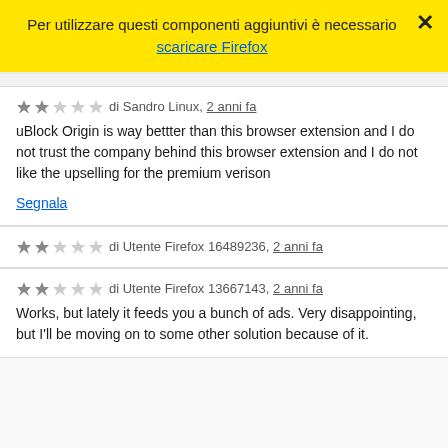Per utilizzare questi componenti aggiuntivi è necessario
scaricare Firefox
di Sandro Linux, 2 anni fa
uBlock Origin is way bettter than this browser extension and I do not trust the company behind this browser extension and I do not like the upselling for the premium verison
Segnala
di Utente Firefox 16489236, 2 anni fa
di Utente Firefox 13667143, 2 anni fa
Works, but lately it feeds you a bunch of ads. Very disappointing, but I'll be moving on to some other solution because of it.